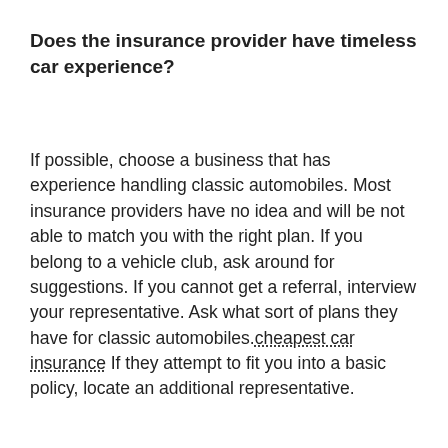Does the insurance provider have timeless car experience?
If possible, choose a business that has experience handling classic automobiles. Most insurance providers have no idea and will be not able to match you with the right plan. If you belong to a vehicle club, ask around for suggestions. If you cannot get a referral, interview your representative. Ask what sort of plans they have for classic automobiles.cheapest car insurance If they attempt to fit you into a basic policy, locate an additional representative.